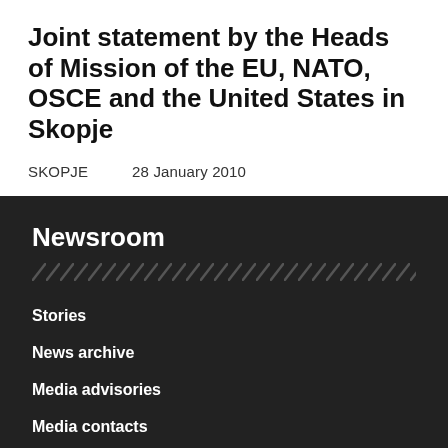Joint statement by the Heads of Mission of the EU, NATO, OSCE and the United States in Skopje
SKOPJE    28 January 2010
Newsroom
Stories
News archive
Media advisories
Media contacts
OSCE Live
Frequently asked questions
Multimedia